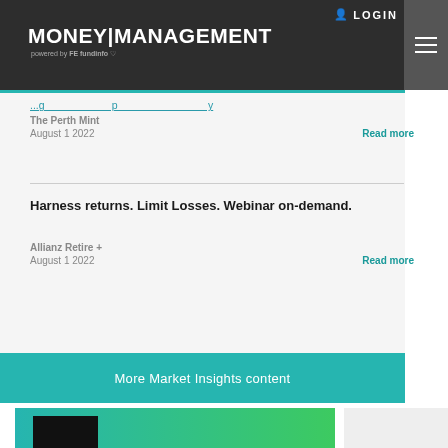MONEY|MANAGEMENT powered by FE fundinfo
The Perth Mint
August 1 2022
Read more
Harness returns. Limit Losses. Webinar on-demand.
Allianz Retire +
August 1 2022
Read more
More Market Insights content
[Figure (illustration): Money Management magazine cover with READ NOW call to action on teal and green background]